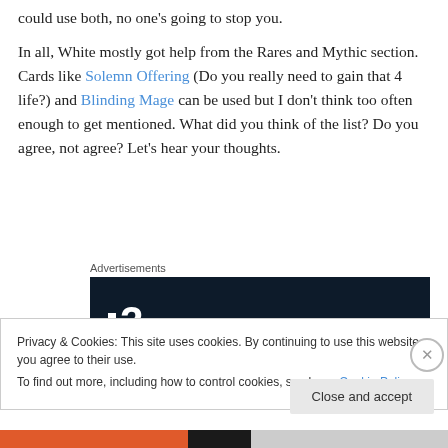could use both, no one's going to stop you.
In all, White mostly got help from the Rares and Mythic section. Cards like Solemn Offering (Do you really need to gain that 4 life?) and Blinding Mage can be used but I don't think too often enough to get mentioned. What did you think of the list? Do you agree, not agree? Let's hear your thoughts.
[Figure (other): Advertisement banner with dark background showing a logo consisting of two small squares and the number 2, resembling a PlayStation 2 style logo, on a dark navy background.]
Privacy & Cookies: This site uses cookies. By continuing to use this website, you agree to their use.
To find out more, including how to control cookies, see here: Cookie Policy